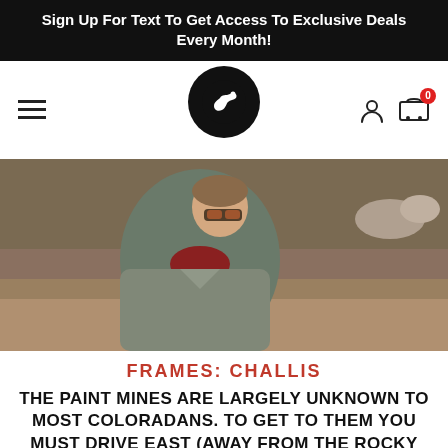Sign Up For Text To Get Access To Exclusive Deals Every Month!
[Figure (logo): Navigation bar with hamburger menu, bird logo in black circle, user icon and shopping cart with badge showing 0]
[Figure (photo): Man wearing sunglasses (Challis frames) and a grey jacket with red scarf, standing outdoors in a rocky terrain]
FRAMES: CHALLIS
THE PAINT MINES ARE LARGELY UNKNOWN TO MOST COLORADANS. TO GET TO THEM YOU MUST DRIVE EAST (AWAY FROM THE ROCKY MOUNTAINS WHERE PEOPLE LOVE